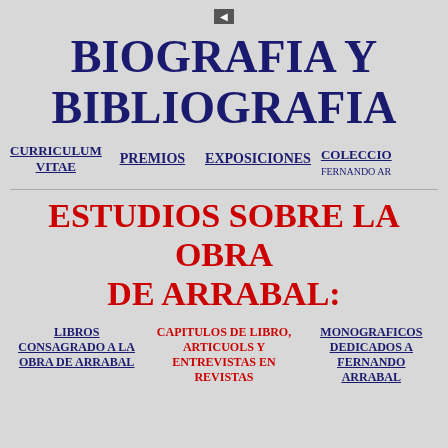◄
BIOGRAFIA Y BIBLIOGRAFIA
CURRICULUM VITAE   PREMIOS   EXPOSICIONES   COLECCION FERNANDO AR...
ESTUDIOS SOBRE LA OBRA DE ARRABAL:
LIBROS CONSAGRADO A LA OBRA DE ARRABAL   CAPITULOS DE LIBRO, ARTICUOLS Y ENTREVISTAS EN REVISTAS   MONOGRAFICOS DEDICADOS A FERNANDO ARRABAL